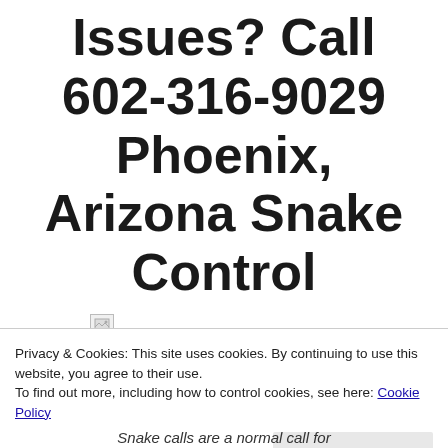Issues? Call 602-316-9029 Phoenix, Arizona Snake Control
[Figure (photo): Partially visible image with broken image icon at top left, with italic text beside it]
Privacy & Cookies: This site uses cookies. By continuing to use this website, you agree to their use.
To find out more, including how to control cookies, see here: Cookie Policy
Close and accept
Snake calls are a normal call for